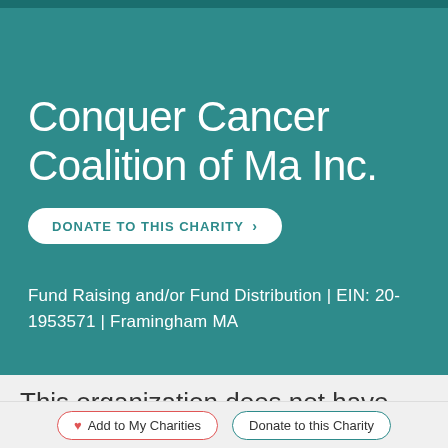Conquer Cancer Coalition of Ma Inc.
DONATE TO THIS CHARITY >
Fund Raising and/or Fund Distribution | EIN: 20-1953571 | Framingham MA
This organization does not have
Add to My Charities   Donate to this Charity